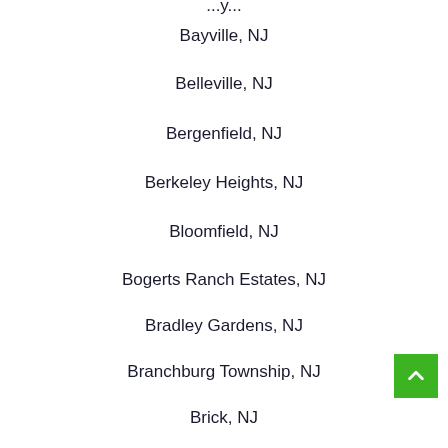Bayville, NJ
Belleville, NJ
Bergenfield, NJ
Berkeley Heights, NJ
Bloomfield, NJ
Bogerts Ranch Estates, NJ
Bradley Gardens, NJ
Branchburg Township, NJ
Brick, NJ